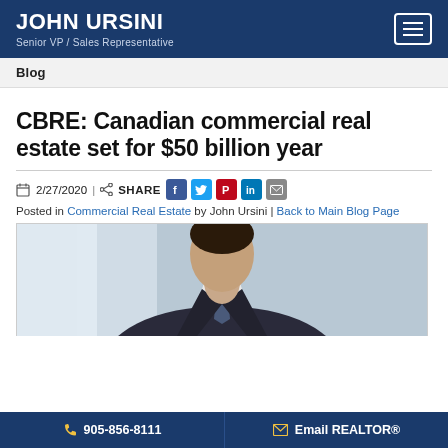JOHN URSINI | Senior VP / Sales Representative
Blog
CBRE: Canadian commercial real estate set for $50 billion year
2/27/2020 | SHARE
Posted in Commercial Real Estate by John Ursini | Back to Main Blog Page
[Figure (photo): Man in dark suit and tie, cropped from shoulders up, blurred office background]
905-856-8111 | Email REALTOR®